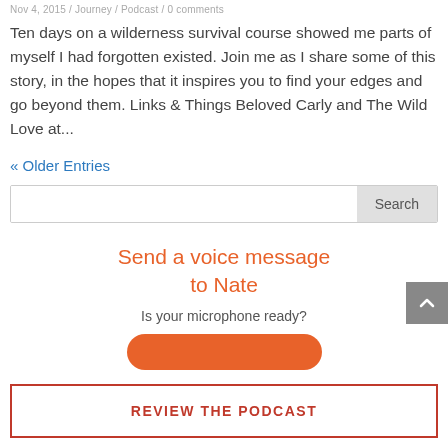Nov 4, 2015 / Journey / Podcast / 0 comments
Ten days on a wilderness survival course showed me parts of myself I had forgotten existed. Join me as I share some of this story, in the hopes that it inspires you to find your edges and go beyond them. Links & Things Beloved Carly and The Wild Love at...
« Older Entries
[Figure (other): Search input field with Search button]
Send a voice message to Nate
Is your microphone ready?
[Figure (other): Orange rounded button (partially visible)]
[Figure (other): Grey scroll-to-top button with upward chevron arrow]
REVIEW THE PODCAST